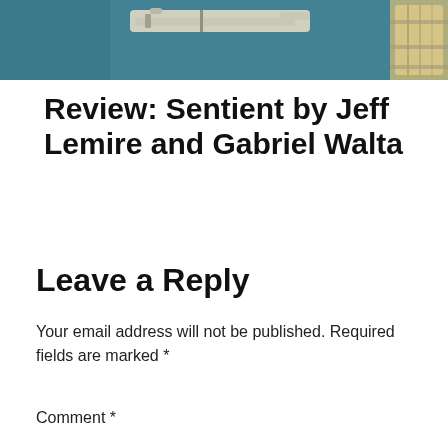[Figure (illustration): Partial comic book cover or illustration showing sci-fi weapons and equipment on a teal/dark background, cropped at top]
Review: Sentient by Jeff Lemire and Gabriel Walta
Leave a Reply
Your email address will not be published. Required fields are marked *
Comment *